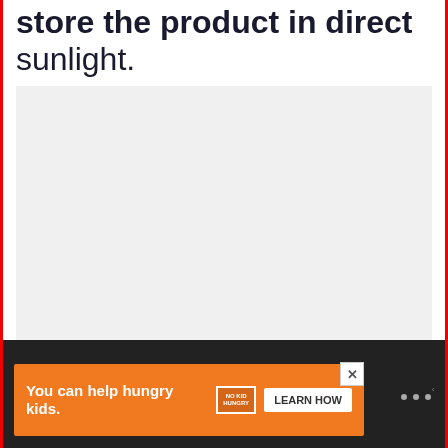store the product in direct sunlight.
[Figure (photo): Large light gray image area with dot carousel indicators at bottom, heart (favorite) button in blue circle and share button in white circle on right side]
[Figure (infographic): What's Next panel showing thumbnail of mashed potatoes dish with label 'WHAT'S NEXT →' and text 'What happens if you eat...']
[Figure (screenshot): Orange advertisement banner reading 'You can help hungry kids.' with No Kid Hungry logo and 'LEARN HOW' button, with close X button, displayed in dark footer area]